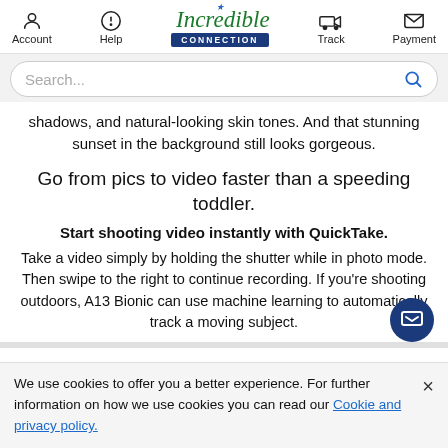Account | Help | Incredible Connection | Track | Payment
[Figure (screenshot): Search bar with placeholder text 'Search...' and a blue magnifying glass icon on the right]
shadows, and natural-looking skin tones. And that stunning sunset in the background still looks gorgeous.
Go from pics to video faster than a speeding toddler.
Start shooting video instantly with QuickTake.
Take a video simply by holding the shutter while in photo mode. Then swipe to the right to continue recording. If you're shooting outdoors, A13 Bionic can use machine learning to automatically track a moving subject.
We use cookies to offer you a better experience. For further information on how we use cookies you can read our Cookie and privacy policy.